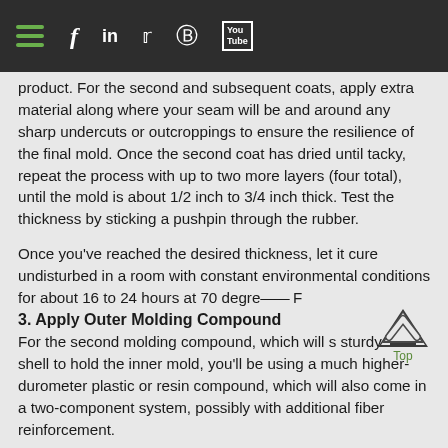Navigation bar with hamburger menu, Facebook, LinkedIn, Twitter, Pinterest, YouTube icons
product. For the second and subsequent coats, apply extra material along where your seam will be and around any sharp undercuts or outcroppings to ensure the resilience of the final mold. Once the second coat has dried until tacky, repeat the process with up to two more layers (four total), until the mold is about 1/2 inch to 3/4 inch thick. Test the thickness by sticking a pushpin through the rubber.
Once you've reached the desired thickness, let it cure undisturbed in a room with constant environmental conditions for about 16 to 24 hours at 70 degre— F
3. Apply Outer Molding Compound
For the second molding compound, which will s sturdy outer shell to hold the inner mold, you'll be using a much higher-durometer plastic or resin compound, which will also come in a two-component system, possibly with additional fiber reinforcement.